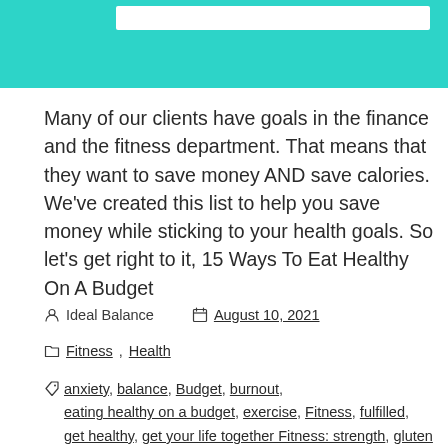[Figure (illustration): Teal/turquoise banner at the top of the page with a white rectangular box inset near the top-right area]
Many of our clients have goals in the finance and the fitness department. That means that they want to save money AND save calories. We've created this list to help you save money while sticking to your health goals. So let's get right to it, 15 Ways To Eat Healthy On A Budget
Ideal Balance   August 10, 2021
Fitness, Health
anxiety, balance, Budget, burnout, eating healthy on a budget, exercise, Fitness, fulfilled, get healthy, get your life together Fitness: strength, gluten free , joy, meal planning, meal prepping, mental health, nutrition,